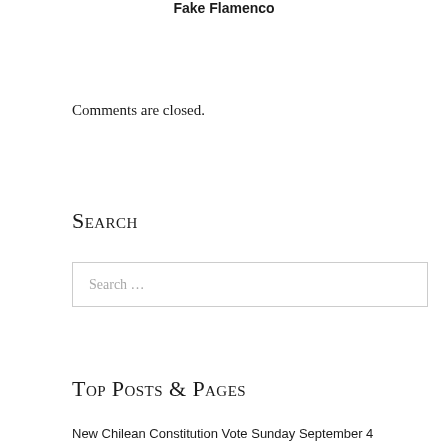Fake Flamenco
Comments are closed.
Search
Search …
Top Posts & Pages
New Chilean Constitution Vote Sunday September 4